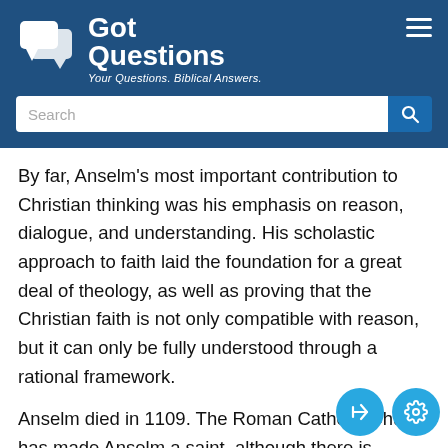Got Questions — Your Questions. Biblical Answers.
By far, Anselm's most important contribution to Christian thinking was his emphasis on reason, dialogue, and understanding. His scholastic approach to faith laid the foundation for a great deal of theology, as well as proving that the Christian faith is not only compatible with reason, but it can only be fully understood through a rational framework.
Anselm died in 1109. The Roman Catholic Church has made Anselm a saint, although there is some question as to exactly when he was canonized. His